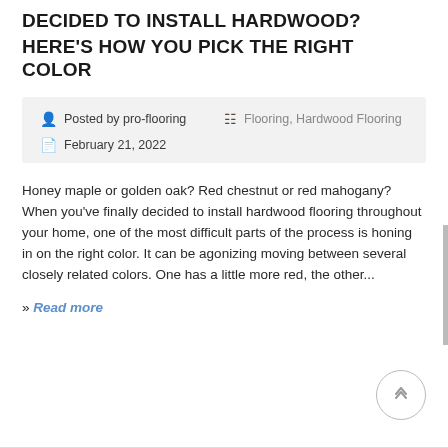DECIDED TO INSTALL HARDWOOD?
HERE'S HOW YOU PICK THE RIGHT COLOR
Posted by pro-flooring   Flooring, Hardwood Flooring   February 21, 2022
Honey maple or golden oak? Red chestnut or red mahogany? When you've finally decided to install hardwood flooring throughout your home, one of the most difficult parts of the process is honing in on the right color. It can be agonizing moving between several closely related colors. One has a little more red, the other...
» Read more